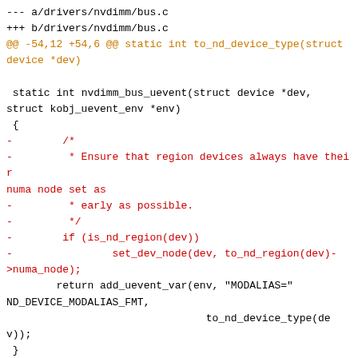--- a/drivers/nvdimm/bus.c
+++ b/drivers/nvdimm/bus.c
@@ -54,12 +54,6 @@ static int to_nd_device_type(struct device *dev)

 static int nvdimm_bus_uevent(struct device *dev,
struct kobj_uevent_env *env)
 {
-        /*
-         * Ensure that region devices always have their numa node set as
-         * early as possible.
-         */
-        if (is_nd_region(dev))
-                set_dev_node(dev, to_nd_region(dev)->numa_node);
        return add_uevent_var(env, "MODALIAS="
ND_DEVICE_MODALIAS_FMT,
                                to_nd_device_type(dev));
 }
@@ -519,6 +513,16 @@ void __nd_device_register(struct device *dev)
 void nd_device_register(struct device *dev)
 {
        device_initialize(dev);

+
+        /*
+         * Ensure that region devices always have their NUMA node set as
+ * early as possible. This way we are able to